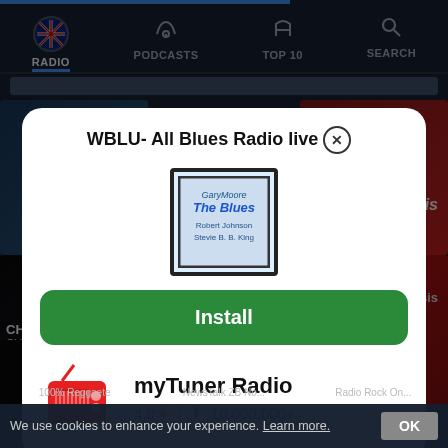[Figure (screenshot): Mobile app screenshot showing a radio app (myTuner Radio) with a modal dialog for WBLU- All Blues Radio live, featuring an Install button, app rating of 4.8 stars and 10,000,000+ downloads, with navigation tabs for Radio, Podcasts, Top 10, Search, and a cookie consent bar at the bottom.]
RADIO
PODCASTS
TOP 10
SEARCH
WBLU- All Blues Radio live ⊗
Install
myTuner Radio
4.8 ★ | ⬇ 10.000.000+
Chilltrax
Oasis
100% Reggaete
NewsTalk ZB No...
Radio Rock On...
We use cookies to enhance your experience. Learn more.  OK